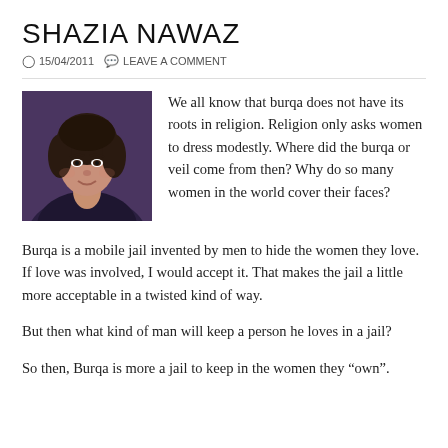SHAZIA NAWAZ
15/04/2011   LEAVE A COMMENT
[Figure (photo): Portrait photo of a woman with dark hair, smiling, against a dark purple background]
We all know that burqa does not have its roots in religion. Religion only asks women to dress modestly. Where did the burqa or veil come from then? Why do so many women in the world cover their faces?
Burqa is a mobile jail invented by men to hide the women they love. If love was involved, I would accept it. That makes the jail a little more acceptable in a twisted kind of way.
But then what kind of man will keep a person he loves in a jail?
So then, Burqa is more a jail to keep in the women they "own".